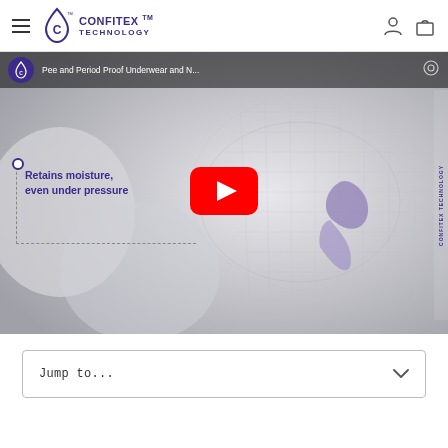Confitex Technology – navigation header with hamburger menu, logo, user icon, and cart icon
[Figure (screenshot): YouTube video thumbnail for 'Pee and Period Proof Underwear and N...' showing a 3D wireframe anatomical model with a purple fabric insert, and text overlay 'Retains moisture, even under pressure' in a dashed annotation box. A YouTube play button is centered on the thumbnail.]
Jump to...